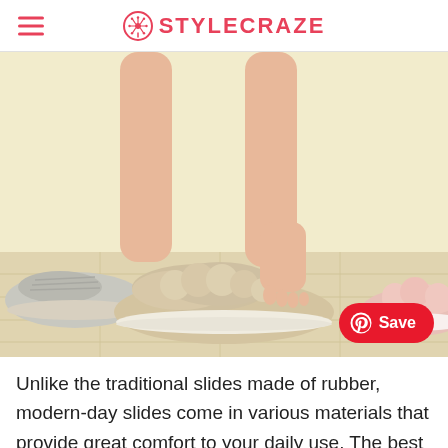STYLECRAZE
[Figure (photo): Close-up of a person stepping into beige fluffy slippers on a light wood floor, with a grey knit slipper on the left and a pink slipper partially visible on the right, against a pale yellow wall background. A Pinterest Save button appears in the bottom right corner.]
Unlike the traditional slides made of rubber, modern-day slides come in various materials that provide great comfort to your daily use. The best slides for